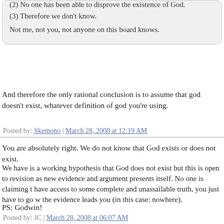(2) No one has been able to disprove the existence of God.
(3) Therefore we don't know.

Not me, not you, not anyone on this board knows.
And therefore the only rational conclusion is to assume that god doesn't exist, whatever definition of god you're using.
Posted by: Skemono | March 28, 2008 at 12:19 AM
You are absolutely right. We do not know that God exists or does not exist.
We have is a working hypothesis that God does not exist but this is open to revision as new evidence and argument presents itself. No one is claiming to have access to some complete and unassailable truth, you just have to go where the evidence leads you (in this case: nowhere).
PS: Godwin!
Posted by: JC | March 28, 2008 at 06:07 AM